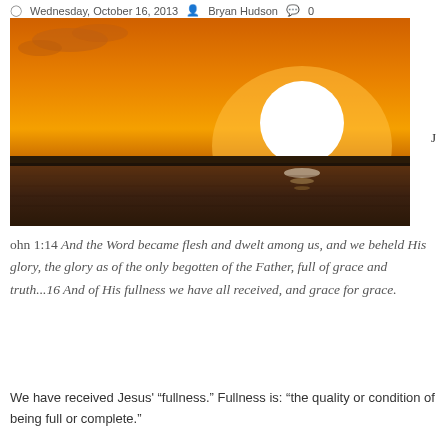Wednesday, October 16, 2013  Bryan Hudson  0 Comments
[Figure (photo): Dramatic sunset over water with large bright white sun near the horizon against an orange sky, dark land silhouette at the bottom]
ohn 1:14 And the Word became flesh and dwelt among us, and we beheld His glory, the glory as of the only begotten of the Father, full of grace and truth...16 And of His fullness we have all received, and grace for grace.
We have received Jesus' “fullness.” Fullness is: “the quality or condition of being full or complete.”